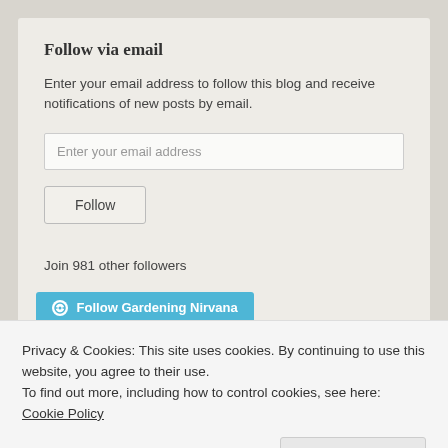Follow via email
Enter your email address to follow this blog and receive notifications of new posts by email.
Enter your email address
Follow
Join 981 other followers
[Figure (screenshot): Blue WordPress Follow Gardening Nirvana button]
Privacy & Cookies: This site uses cookies. By continuing to use this website, you agree to their use.
To find out more, including how to control cookies, see here: Cookie Policy
Close and accept